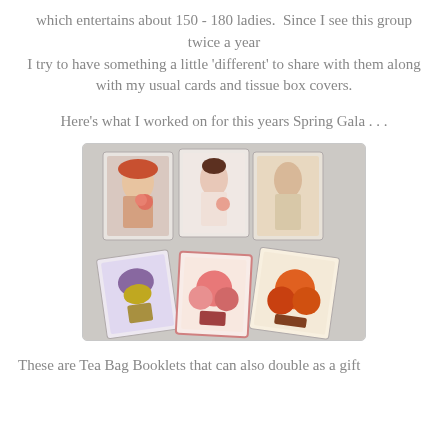which entertains about 150 - 180 ladies.  Since I see this group twice a year
I try to have something a little 'different' to share with them along with my usual cards and tissue box covers.
Here's what I worked on for this years Spring Gala . . .
[Figure (photo): A photograph showing six handmade greeting card booklets in clear plastic sleeves arranged on a light surface. The top row has three cards featuring vintage-style portraits of women with flowers. The bottom row has three cards with floral illustrations including a purple floral bouquet, pink roses, and orange flowers.]
These are Tea Bag Booklets that can also double as a gift